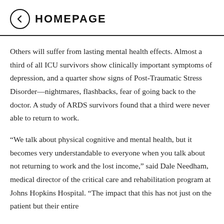← HOMEPAGE
Others will suffer from lasting mental health effects. Almost a third of all ICU survivors show clinically important symptoms of depression, and a quarter show signs of Post-Traumatic Stress Disorder—nightmares, flashbacks, fear of going back to the doctor. A study of ARDS survivors found that a third were never able to return to work.
“We talk about physical cognitive and mental health, but it becomes very understandable to everyone when you talk about not returning to work and the lost income,” said Dale Needham, medical director of the critical care and rehabilitation program at Johns Hopkins Hospital. “The impact that this has not just on the patient but their entire